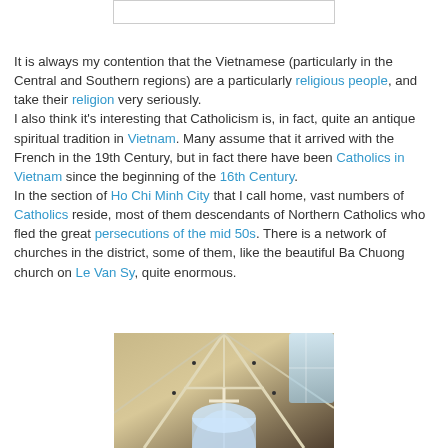[Figure (other): Top cropped image placeholder box with border]
It is always my contention that the Vietnamese (particularly in the Central and Southern regions) are a particularly religious people, and take their religion very seriously. I also think it's interesting that Catholicism is, in fact, quite an antique spiritual tradition in Vietnam. Many assume that it arrived with the French in the 19th Century, but in fact there have been Catholics in Vietnam since the beginning of the 16th Century. In the section of Ho Chi Minh City that I call home, vast numbers of Catholics reside, most of them descendants of Northern Catholics who fled the great persecutions of the mid 50s. There is a network of churches in the district, some of them, like the beautiful Ba Chuong church on Le Van Sy, quite enormous.
[Figure (photo): Interior photo of a large Catholic church showing vaulted ceiling beams, an arched window at the back, and stained glass windows letting in light from the right side]